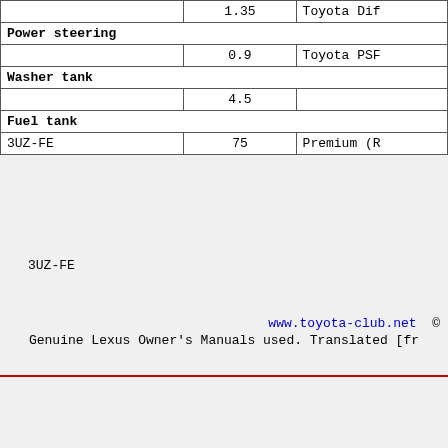|  |  |  |
| --- | --- | --- |
|  | 1.35 | Toyota Dif… |
| Power steering |  |  |
|  | 0.9 | Toyota PSF… |
| Washer tank |  |  |
|  | 4.5 |  |
| Fuel tank |  |  |
| 3UZ-FE | 75 | Premium (R… |
3UZ-FE
www.toyota-club.net © Genuine Lexus Owner's Manuals used. Translated [fr…